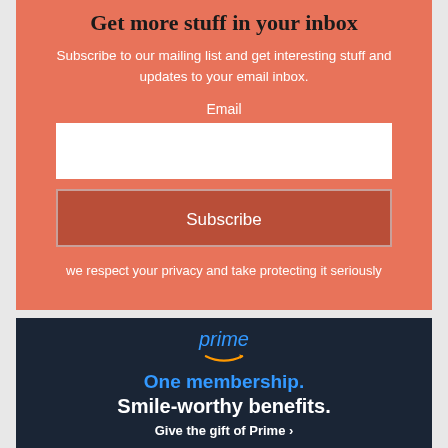Get more stuff in your inbox
Subscribe to our mailing list and get interesting stuff and updates to your email inbox.
Email
Subscribe
we respect your privacy and take protecting it seriously
[Figure (illustration): Amazon Prime advertisement banner with dark navy background showing 'prime' in blue italic text with Amazon arrow logo, 'One membership. Smile-worthy benefits.' text, and 'Give the gift of Prime ›' call to action.]